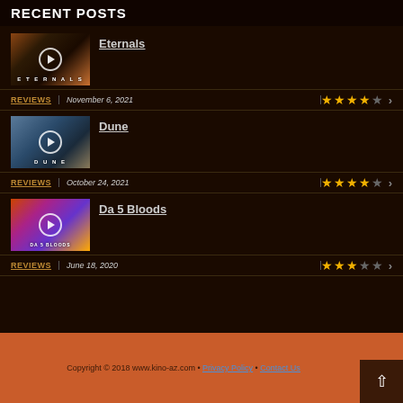RECENT POSTS
[Figure (photo): Eternals movie thumbnail with play button and cast silhouettes]
Eternals
REVIEWS | November 6, 2021 | ★★★★☆ >
[Figure (photo): Dune movie thumbnail with play button and cast]
Dune
REVIEWS | October 24, 2021 | ★★★★☆ >
[Figure (photo): Da 5 Bloods movie thumbnail with colorful artwork]
Da 5 Bloods
REVIEWS | June 18, 2020 | ★★★☆☆ >
Copyright © 2018 www.kino-az.com • Privacy Policy • Contact Us